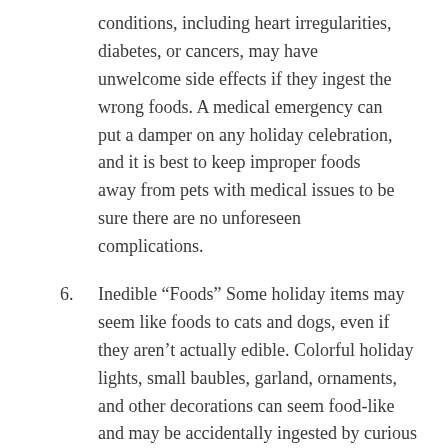conditions, including heart irregularities, diabetes, or cancers, may have unwelcome side effects if they ingest the wrong foods. A medical emergency can put a damper on any holiday celebration, and it is best to keep improper foods away from pets with medical issues to be sure there are no unforeseen complications.
6. Inedible “Foods” Some holiday items may seem like foods to cats and dogs, even if they aren’t actually edible. Colorful holiday lights, small baubles, garland, ornaments, and other decorations can seem food-like and may be accidentally ingested by curious pets. This can lead to choking, injuries, intestinal blockages, and other emergencies.
7. Behavioral Changes The holidays are exciting, and if pets are surrounded by new guests that may be